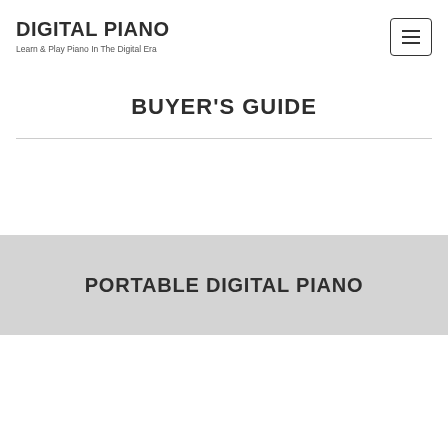DIGITAL PIANO
Learn & Play Piano In The Digital Era
BUYER'S GUIDE
PORTABLE DIGITAL PIANO